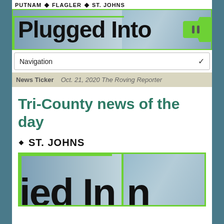PUTNAM ◆ FLAGLER ◆ ST. JOHNS
[Figure (logo): Plugged Into banner logo with city background and green plug graphic]
Navigation
Oct. 21, 2020 The Roving Reporter
Tri-County news of the day
◆ ST. JOHNS
[Figure (logo): Plugged Into logo repeated as article image, partial view]